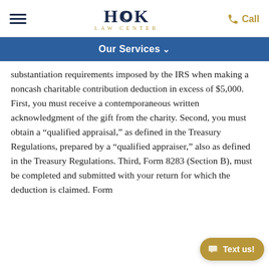Hook Law Center | Our Services | Call
Our Services
substantiation requirements imposed by the IRS when making a noncash charitable contribution deduction in excess of $5,000. First, you must receive a contemporaneous written acknowledgment of the gift from the charity. Second, you must obtain a “qualified appraisal,” as defined in the Treasury Regulations, prepared by a “qualified appraiser,” also as defined in the Treasury Regulations. Third, Form 8283 (Section B), must be completed and submitted with your return for which the deduction is claimed. Form